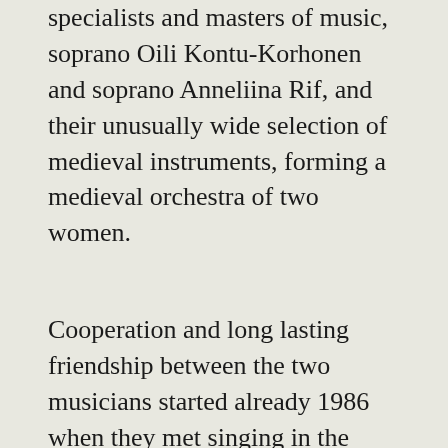specialists and masters of music, soprano Oili Kontu-Korhonen and soprano Anneliina Rif, and their unusually wide selection of medieval instruments, forming a medieval orchestra of two women.
Cooperation and long lasting friendship between the two musicians started already 1986 when they met singing in the Jewish choir Hazamir in Helsinki. After that they have been seen together in many ensembles like The Finnish Radio Chamber Choir, The Ring Ensemble, Apples of Paradise and Diadema. They have worked together as a team in the theatre and with dancers combining authentic